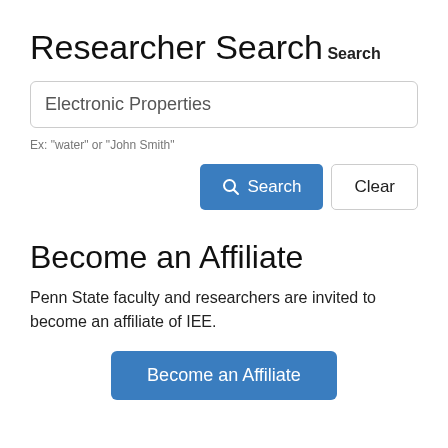Researcher Search
Search
Electronic Properties
Ex: "water" or "John Smith"
Search   Clear
Become an Affiliate
Penn State faculty and researchers are invited to become an affiliate of IEE.
Become an Affiliate